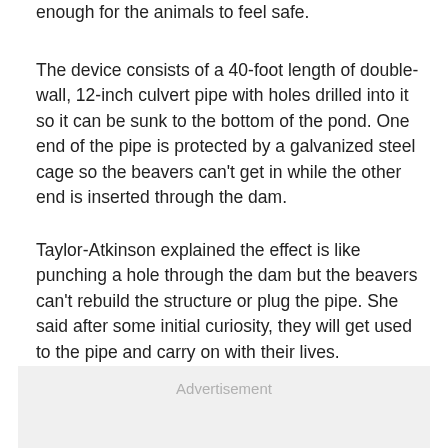enough for the animals to feel safe.
The device consists of a 40-foot length of double-wall, 12-inch culvert pipe with holes drilled into it so it can be sunk to the bottom of the pond. One end of the pipe is protected by a galvanized steel cage so the beavers can't get in while the other end is inserted through the dam.
Taylor-Atkinson explained the effect is like punching a hole through the dam but the beavers can't rebuild the structure or plug the pipe. She said after some initial curiosity, they will get used to the pipe and carry on with their lives.
Advertisement